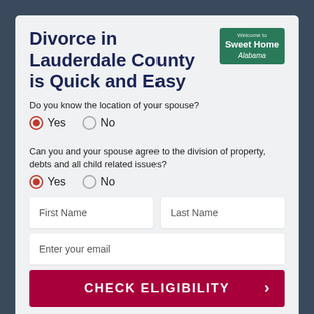Divorce in Lauderdale County is Quick and Easy
[Figure (logo): Welcome to Sweet Home Alabama green badge/logo]
Do you know the location of your spouse?
Yes (selected) / No
Can you and your spouse agree to the division of property, debts and all child related issues?
Yes (selected) / No
First Name
Last Name
Enter your email
CHECK ELIGIBILITY
I agree to the Terms of Service